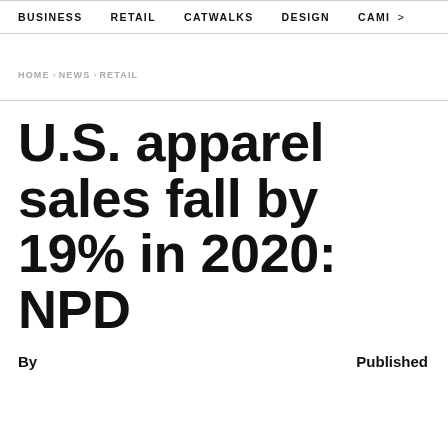BUSINESS   RETAIL   CATWALKS   DESIGN   CAMI  >
HOME › NEWS › RETAIL
U.S. apparel sales fall by 19% in 2020: NPD
By    Published